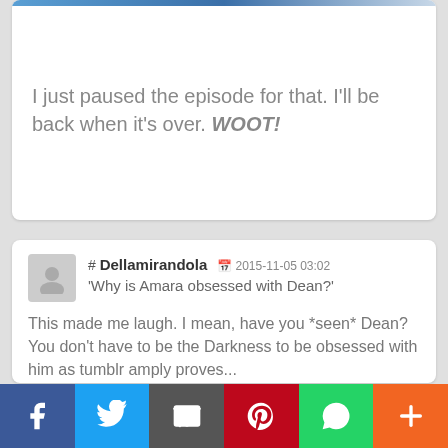I just paused the episode for that. I'll be back when it's over. WOOT!
# Dellamirandola 2015-11-05 03:02
'Why is Amara obsessed with Dean?'

This made me laugh. I mean, have you *seen* Dean? You don't have to be the Darkness to be obsessed with him as tumblr amply proves...

I realise this will be a supremely unpopular opinion but now I want there to be an episode involving Becky and Amara bonding over their Winchester obsessions and Becky using her insider knowledge of how fan obsession works to take Amara down much to Sam and Dean's surprise...